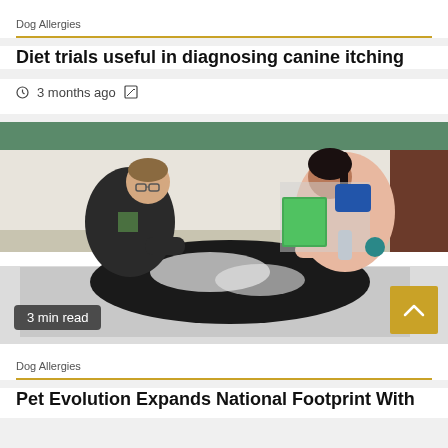Dog Allergies
Diet trials useful in diagnosing canine itching
3 months ago
[Figure (photo): Two people bathing a large black dog in a white tub. A man in dark jacket and glasses on the left, a woman in a pink top with dark hair on the right. Blue grooming equipment visible in background.]
3 min read
Dog Allergies
Pet Evolution Expands National Footprint With